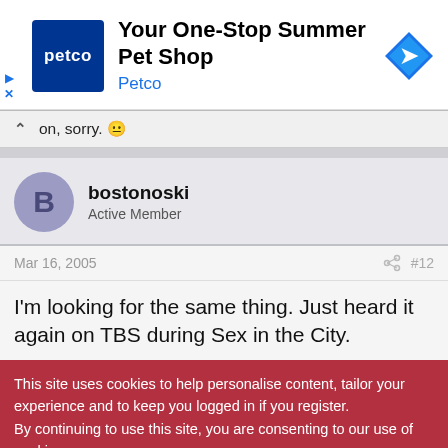[Figure (screenshot): Petco advertisement banner with logo and navigation icon. Text: 'Your One-Stop Summer Pet Shop' / 'Petco'. Play and close (X) controls at bottom-left.]
on, sorry. 😐
bostonoski
Active Member
Mar 16, 2005   #12
I'm looking for the same thing. Just heard it again on TBS during Sex in the City.
This site uses cookies to help personalise content, tailor your experience and to keep you logged in if you register.
By continuing to use this site, you are consenting to our use of cookies.
✓ Accept   Learn more...